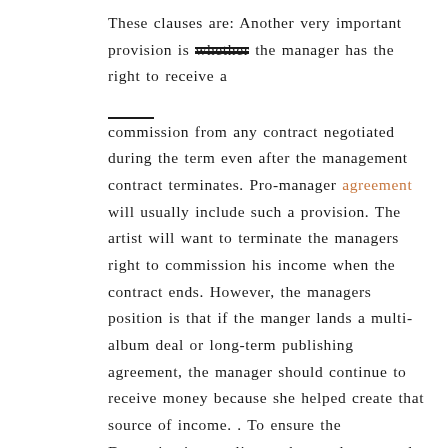These clauses are: Another very important provision is whether the manager has the right to receive a commission from any contract negotiated during the term even after the management contract terminates. Pro-manager agreement will usually include such a provision. The artist will want to terminate the managers right to commission his income when the contract ends. However, the managers position is that if the manger lands a multi-album deal or long-term publishing agreement, the manager should continue to receive money because she helped create that source of income. . To ensure the Determination applies to the employees and agencies covered by the Enterprise Agreement, the Public Sector Variation Regulations 2015 have been made by the Governor of South Australia. RRR Rules Development Center: +7 (831) 272-88-54Address: Nizhniy Novgorod, Verhne-